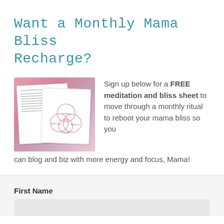Want a Monthly Mama Bliss Recharge?
[Figure (illustration): Pink/mauve gradient background showing two overlapping white document papers; the top document has a Venn diagram with four overlapping circles and handwritten-style labels; the bottom document has text lines.]
Sign up below for a FREE meditation and bliss sheet to move through a monthly ritual to reboot your mama bliss so you can blog and biz with more energy and focus, Mama!
First Name